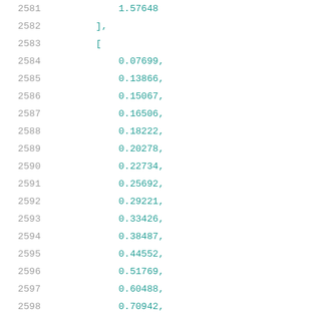2581    1.57648
2582    ],
2583    [
2584        0.07699,
2585        0.13866,
2586        0.15067,
2587        0.16506,
2588        0.18222,
2589        0.20278,
2590        0.22734,
2591        0.25692,
2592        0.29221,
2593        0.33426,
2594        0.38487,
2595        0.44552,
2596        0.51769,
2597        0.60488,
2598        0.70942,
2599        0.83409,
2600        0.98391,
2601        1.16451,
2602        1.38041